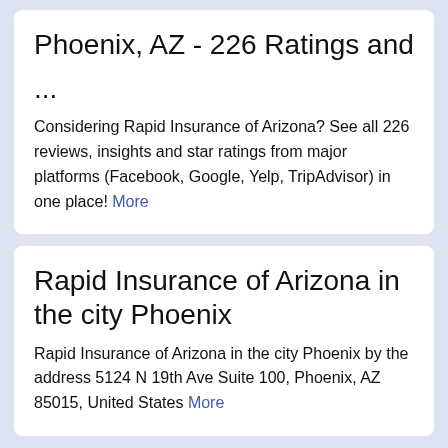Phoenix, AZ - 226 Ratings and ...
Considering Rapid Insurance of Arizona? See all 226 reviews, insights and star ratings from major platforms (Facebook, Google, Yelp, TripAdvisor) in one place! More
Rapid Insurance of Arizona in the city Phoenix
Rapid Insurance of Arizona in the city Phoenix by the address 5124 N 19th Ave Suite 100, Phoenix, AZ 85015, United States More
Rapid Insurance of Arizona |